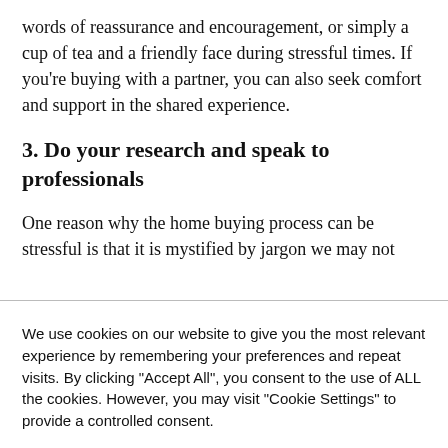words of reassurance and encouragement, or simply a cup of tea and a friendly face during stressful times. If you're buying with a partner, you can also seek comfort and support in the shared experience.
3. Do your research and speak to professionals
One reason why the home buying process can be stressful is that it is mystified by jargon we may not
We use cookies on our website to give you the most relevant experience by remembering your preferences and repeat visits. By clicking "Accept All", you consent to the use of ALL the cookies. However, you may visit "Cookie Settings" to provide a controlled consent.